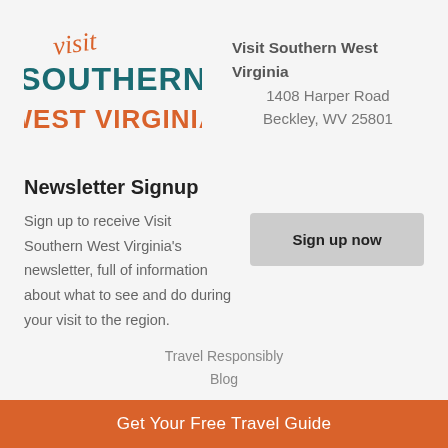[Figure (logo): Visit Southern West Virginia logo with 'visit' in orange script above 'SOUTHERN' in teal bold and 'WEST VIRGINIA' in orange bold]
Visit Southern West Virginia
1408 Harper Road
Beckley, WV 25801
Newsletter Signup
Sign up to receive Visit Southern West Virginia's newsletter, full of information about what to see and do during your visit to the region.
Sign up now
Travel Responsibly
Blog
Get Your Free Travel Guide